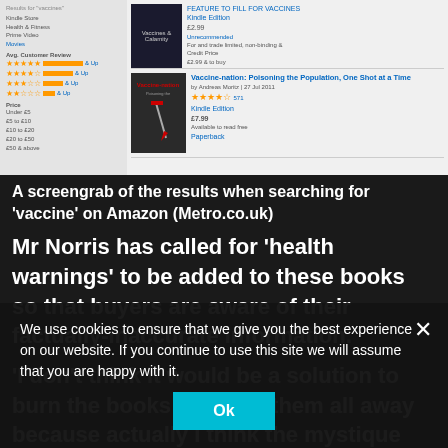[Figure (screenshot): Screenshot of Amazon search results for 'vaccine' showing book listings with covers, star ratings, and price filters on the left panel]
A screengrab of the results when searching for ‘vaccine’ on Amazon (Metro.co.uk)
Mr Norris has called for ‘health warnings’ to be added to these books so that buyers are aware of their factually-inaccurate information.
‘I don’t think it would be a solution to burn the books or throw them all away because actually I think the mystique would grow in that. But instead, we’d really welcome a sense of proportionate health warnings, as you’d find for something online,’ he said.
Because of Amazon's review system, which can be applied to any product, books that promote...